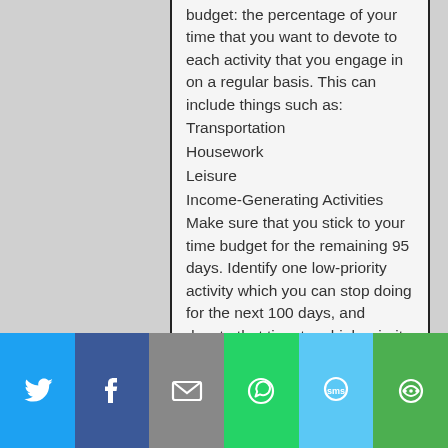budget: the percentage of your time that you want to devote to each activity that you engage in on a regular basis. This can include things such as:
Transportation
Housework
Leisure
Income-Generating Activities
Make sure that you stick to your time budget for the remaining 95 days. Identify one low-priority activity which you can stop doing for the next 100 days, and devote that time to a high priority task instead. Identify five ways in which you regularly waste time, and limit the
[Figure (other): Social sharing bar with icons for Twitter, Facebook, Email, WhatsApp, SMS, and Share]